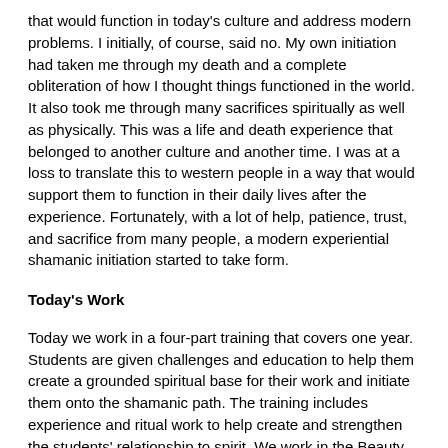that would function in today's culture and address modern problems. I initially, of course, said no. My own initiation had taken me through my death and a complete obliteration of how I thought things functioned in the world. It also took me through many sacrifices spiritually as well as physically. This was a life and death experience that belonged to another culture and another time. I was at a loss to translate this to western people in a way that would support them to function in their daily lives after the experience. Fortunately, with a lot of help, patience, trust, and sacrifice from many people, a modern experiential shamanic initiation started to take form.
Today's Work
Today we work in a four-part training that covers one year. Students are given challenges and education to help them create a grounded spiritual base for their work and initiate them onto the shamanic path. The training includes experience and ritual work to help create and strengthen the students' relationship to spirit. We work in the Beauty Way–a gentle and guided unfolding to reach the gift of each person.